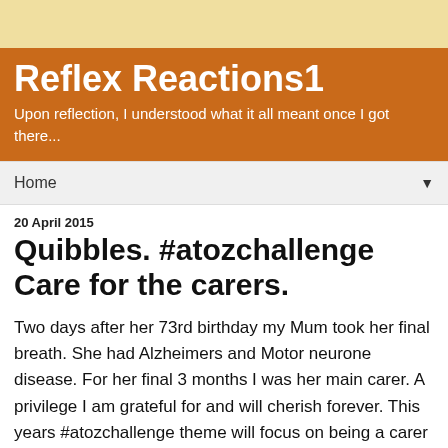Reflex Reactions1
Upon reflection, I understood what it all meant once I got there...
Home
20 April 2015
Quibbles. #atozchallenge Care for the carers.
Two days after her 73rd birthday my Mum took her final breath. She had Alzheimers and Motor neurone disease. For her final 3 months I was her main carer. A privilege I am grateful for and will cherish forever. This years #atozchallenge theme will focus on being a carer / care-giver.
Read more...